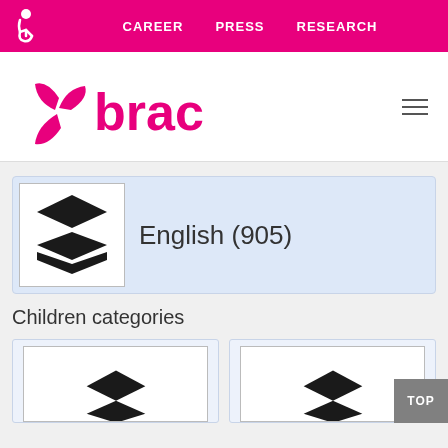CAREER   PRESS   RESEARCH
[Figure (logo): BRAC logo with pink stylized pinwheel icon and 'brac' text in pink]
English (905)
Children categories
[Figure (illustration): Two category cards with stacked layers icons at the bottom of the page]